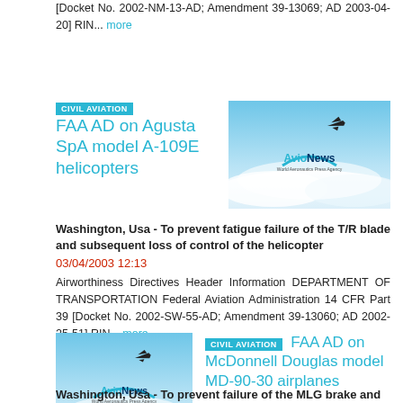[Docket No. 2002-NM-13-AD; Amendment 39-13069; AD 2003-04-20] RIN... more
[Figure (photo): AvioNews World Aeronautics Press Agency logo over clouds with airplane silhouette]
CIVIL AVIATION  FAA AD on Agusta SpA model A-109E helicopters
Washington, Usa - To prevent fatigue failure of the T/R blade and subsequent loss of control of the helicopter
03/04/2003 12:13
Airworthiness Directives Header Information DEPARTMENT OF TRANSPORTATION Federal Aviation Administration 14 CFR Part 39 [Docket No. 2002-SW-55-AD; Amendment 39-13060; AD 2002-25-51] RIN... more
[Figure (photo): AvioNews World Aeronautics Press Agency logo over clouds with airplane silhouette]
CIVIL AVIATION  FAA AD on McDonnell Douglas model MD-90-30 airplanes
Washington, Usa - To prevent failure of the MLG brake and consequent loss of braking capability, which could result in the airplane overrunning the runway during take-off or landing